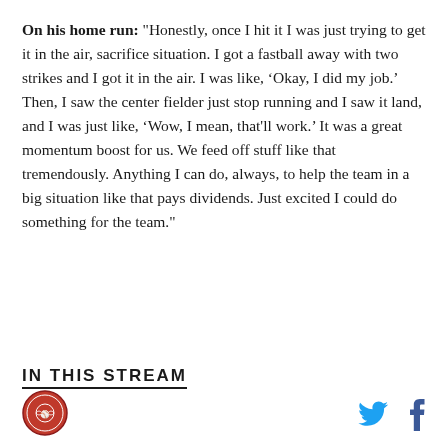On his home run: "Honestly, once I hit it I was just trying to get it in the air, sacrifice situation. I got a fastball away with two strikes and I got it in the air. I was like, ‘Okay, I did my job.’ Then, I saw the center fielder just stop running and I saw it land, and I was just like, ‘Wow, I mean, that’ll work.’ It was a great momentum boost for us. We feed off stuff like that tremendously. Anything I can do, always, to help the team in a big situation like that pays dividends. Just excited I could do something for the team."
IN THIS STREAM
[Figure (logo): Circular red team logo with baseball imagery]